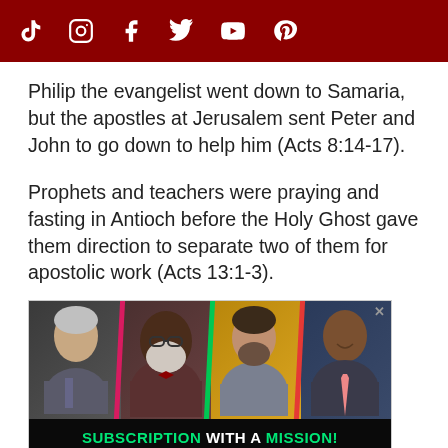Social media icons: TikTok, Instagram, Facebook, Twitter, YouTube, Pinterest
Philip the evangelist went down to Samaria, but the apostles at Jerusalem sent Peter and John to go down to help him (Acts 8:14-17).
Prophets and teachers were praying and fasting in Antioch before the Holy Ghost gave them direction to separate two of them for apostolic work (Acts 13:1-3).
[Figure (photo): Advertisement banner showing four Christian pastors/speakers with colored diagonal strips. Bottom text reads 'SUBSCRIPTION WITH A MISSION!' in green and white bold text on black background.]